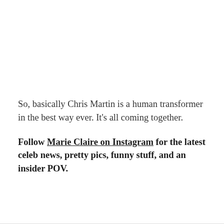So, basically Chris Martin is a human transformer in the best way ever. It's all coming together.
Follow Marie Claire on Instagram for the latest celeb news, pretty pics, funny stuff, and an insider POV.